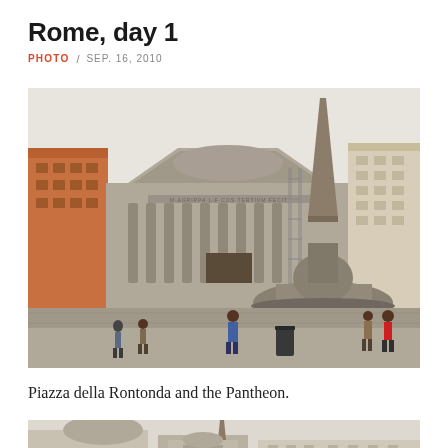Rome, day 1
PHOTO / SEP. 16, 2010
[Figure (photo): Photograph of Piazza della Rotonda with the Pantheon in the background and a baroque fountain in the foreground, surrounded by tourists and Roman buildings]
Piazza della Rontonda and the Pantheon.
[Figure (photo): Partial view of another Rome landmark, showing a church facade and Roman buildings with an obelisk visible]